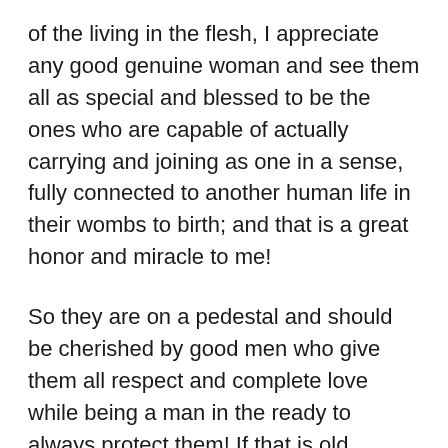of the living in the flesh, I appreciate any good genuine woman and see them all as special and blessed to be the ones who are capable of actually carrying and joining as one in a sense, fully connected to another human life in their wombs to birth; and that is a great honor and miracle to me!
So they are on a pedestal and should be cherished by good men who give them all respect and complete love while being a man in the ready to always protect them! If that is old fashioned and out of line with the crazy nuthouse world today then all I can say is, tough shit! I'm not changing and will be this way to my last breath! But the caveat to this is